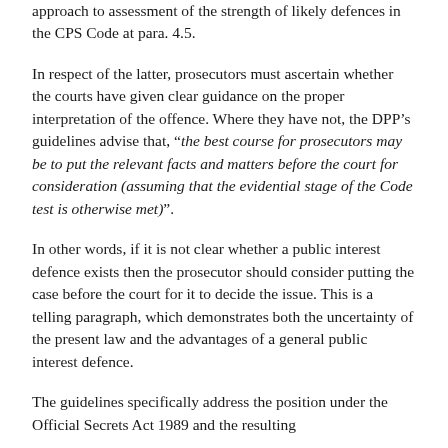approach to assessment of the strength of likely defences in the CPS Code at para. 4.5.
In respect of the latter, prosecutors must ascertain whether the courts have given clear guidance on the proper interpretation of the offence. Where they have not, the DPP's guidelines advise that, “the best course for prosecutors may be to put the relevant facts and matters before the court for consideration (assuming that the evidential stage of the Code test is otherwise met)”.
In other words, if it is not clear whether a public interest defence exists then the prosecutor should consider putting the case before the court for it to decide the issue. This is a telling paragraph, which demonstrates both the uncertainty of the present law and the advantages of a general public interest defence.
The guidelines specifically address the position under the Official Secrets Act 1989 and the resulting